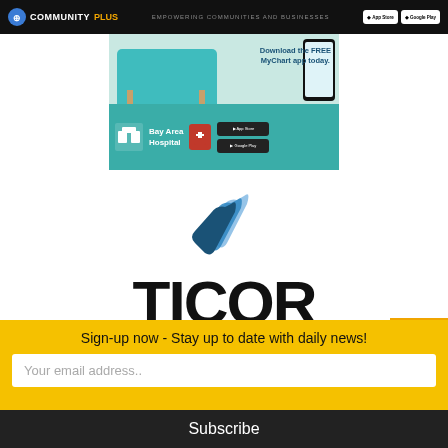COMMUNITYPLUS — EMPOWERING COMMUNITIES AND BUSINESSES
[Figure (illustration): Bay Area Hospital advertisement showing 'Download the FREE MyChart app today.' with App Store and Google Play download buttons on a teal background]
[Figure (logo): Ticor logo — blue geometric layered S-shape icon above bold black TICOR text]
Sign-up now - Stay up to date with daily news!
Your email address..
Subscribe